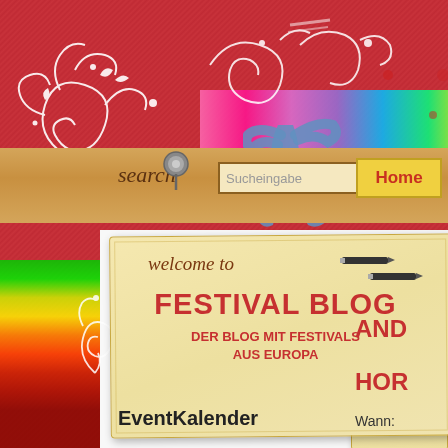[Figure (illustration): White decorative swirl/floral illustration on red textured background, top-left]
[Figure (illustration): Blue paint splash silhouette of a person/dancer with red paint splat, top-right]
[Figure (illustration): White decorative swirl with double stripe lines, top-center]
[Figure (illustration): Thumbtack/pin illustration on kraft paper search strip]
search
Sucheingabe
Home
[Figure (illustration): Small white swirl on left colorful diagonal strip]
[Figure (illustration): Pencil/pen illustration on welcome card]
welcome to
FESTIVAL BLOG
DER BLOG MIT FESTIVALS AUS EUROPA
[Figure (illustration): Pencil/pen illustration on right panel]
AND
HOR
Wann:
EventKalender